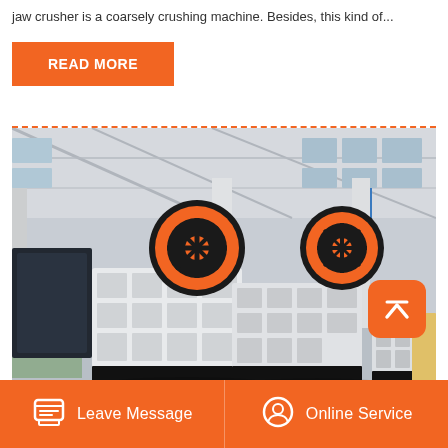jaw crusher is a coarsely crushing machine. Besides, this kind of...
READ MORE
[Figure (photo): Industrial jaw crushers with large orange and black flywheels on black bases, displayed in a large factory warehouse with steel structure ceiling and white pillars.]
Leave Message   Online Service